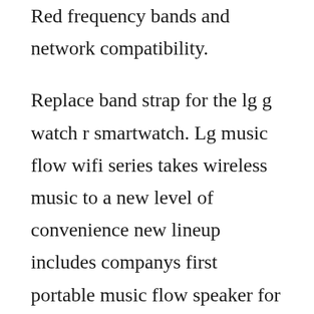Red frequency bands and network compatibility.
Replace band strap for the lg g watch r smartwatch. Lg music flow wifi series takes wireless music to a new level of convenience new lineup includes companys first portable music flow speaker for seamless music experience anywhere. This bizarre mix of makeup and macho macabre left an unforgettable mark on metal bands, with some attempts to nail the look coming up hilariously short. Lg lifeband touch photos, specs, and price engadget. Military nylon